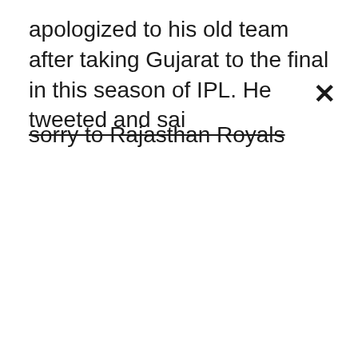apologized to his old team after taking Gujarat to the final in this season of IPL. He tweeted and sai sorry to Rajasthan Royals